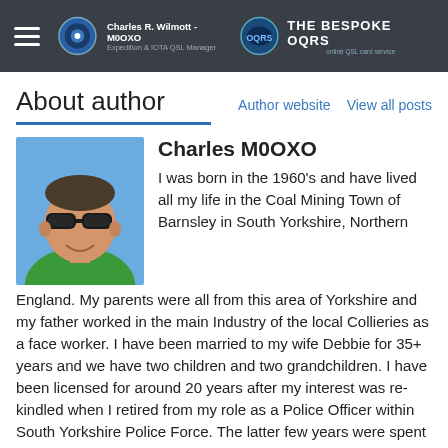Charles R. Wilmott - M0OXO | Expedition & IOTA QSL Manager | THE BESPOKE OQRS
About author
Author website   View all posts
[Figure (photo): Headshot photo of Charles M0OXO wearing sunglasses and a green shirt, smiling outdoors]
Charles M0OXO
I was born in the 1960's and have lived all my life in the Coal Mining Town of Barnsley in South Yorkshire, Northern England. My parents were all from this area of Yorkshire and my father worked in the main Industry of the local Collieries as a face worker. I have been married to my wife Debbie for 35+ years and we have two children and two grandchildren. I have been licensed for around 20 years after my interest was re-kindled when I retired from my role as a Police Officer within South Yorkshire Police Force. The latter few years were spent as Radio Operator in the Force Operations Control Room at Sheffield, before my career